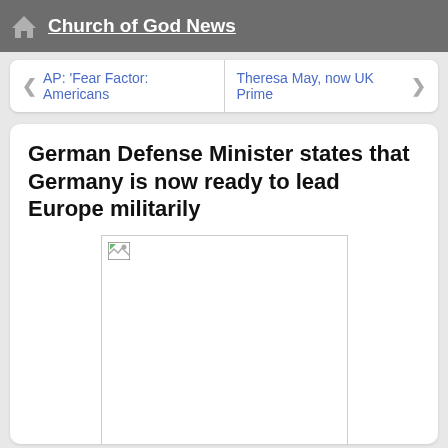Church of God News
AP: 'Fear Factor: Americans
Theresa May, now UK Prime
German Defense Minister states that Germany is now ready to lead Europe militarily
[Figure (photo): Broken/missing image placeholder representing the Symbol of the German Bundeswehr]
Symbol of the German Bundeswehr